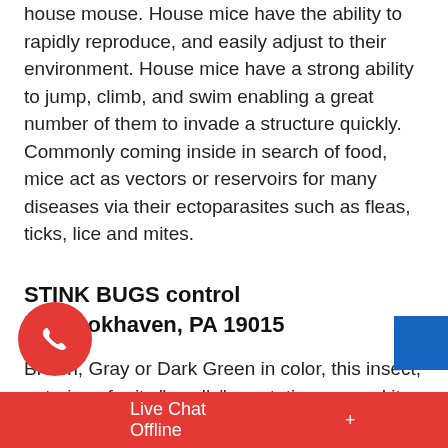house mouse. House mice have the ability to rapidly reproduce, and easily adjust to their environment. House mice have a strong ability to jump, climb, and swim enabling a great number of them to invade a structure quickly. Commonly coming inside in search of food, mice act as vectors or reservoirs for many diseases via their ectoparasites such as fleas, ticks, lice and mites.
STINK BUGS control in Brookhaven, PA 19015
Brown, Gray or Dark Green in color, this insect, notorious for its "smelly" reputation, earned its name from its tendency to release an odor when disturbed or when crushed. Many other insects have these same characteristics, including some species... bugs. M...